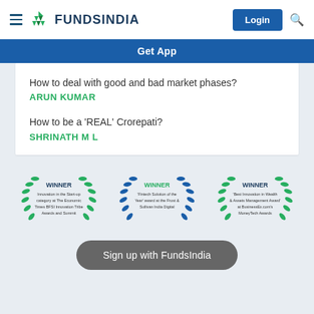FundsIndia
Get App
How to deal with good and bad market phases?
ARUN KUMAR
How to be a 'REAL' Crorepati?
SHRINATH M L
[Figure (logo): WINNER badge - Innovation in the Start-up category at The Economic Times BFSI Innovation Tribe Awards and Summit]
[Figure (logo): WINNER badge - 'Fintech Solution of the Year' award at the Frost & Sullivan India Digital]
[Figure (logo): WINNER badge - 'Best Innovation in Wealth & Assets Management Award' at BusinessEx.com's MoneyTech Awards]
Sign up with FundsIndia